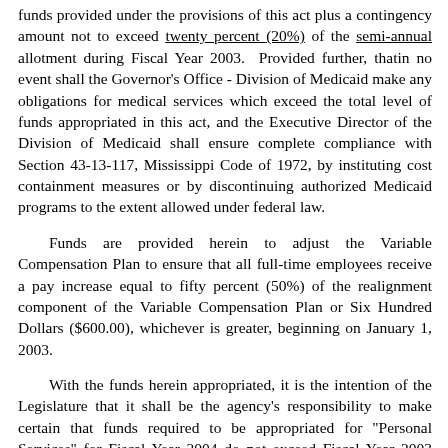funds provided under the provisions of this act plus a contingency amount not to exceed twenty percent (20%) of the semi-annual allotment during Fiscal Year 2003.  Provided further, thatin no event shall the Governor's Office - Division of Medicaid make any obligations for medical services which exceed the total level of funds appropriated in this act, and the Executive Director of the Division of Medicaid shall ensure complete compliance with Section 43-13-117, Mississippi Code of 1972, by instituting cost containment measures or by discontinuing authorized Medicaid programs to the extent allowed under federal law.
Funds are provided herein to adjust the Variable Compensation Plan to ensure that all full-time employees receive a pay increase equal to fifty percent (50%) of the realignment component of the Variable Compensation Plan or Six Hundred Dollars ($600.00), whichever is greater, beginning on January 1, 2003.
With the funds herein appropriated, it is the intention of the Legislature that it shall be the agency's responsibility to make certain that funds required to be appropriated for "Personal Services" for Fiscal Year 2004 do not exceed Fiscal Year 2003 funds appropriated for that purpose, unless programs, positions or pay increases are added to the agency's budget by the Mississippi Legislature.  Based on data provided by the Legislative Budget Office, the State Personnel Board shall, on July 1, 2002, publish